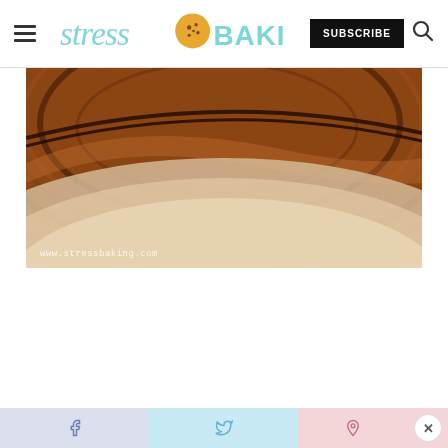Stress Baking — navigation header with logo, SUBSCRIBE button, and search icon
[Figure (photo): Close-up photo of a dark wooden bowl or board with wood grain texture, warm brown tones, watermark 'www.stressbaking.com' at bottom left]
Social share bar: Facebook, Twitter, Pinterest share buttons with close (x) button